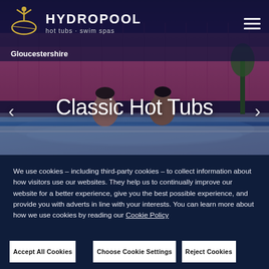HYDROPOOL hot tubs · swim spas — Gloucestershire
[Figure (photo): Couple in a hot tub with pink fence background, labeled Classic Hot Tubs with carousel navigation arrows]
We use cookies – including third-party cookies – to collect information about how visitors use our websites. They help us to continually improve our website for a better experience, give you the best possible experience, and provide you with adverts in line with your interests. You can learn more about how we use cookies by reading our Cookie Policy
Accept All Cookies
Choose Cookie Settings
Reject Cookies